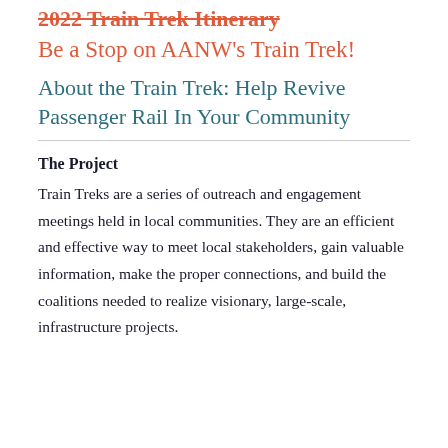2022 Train Trek Itinerary
Be a Stop on AANW's Train Trek!
About the Train Trek: Help Revive Passenger Rail In Your Community
The Project
Train Treks are a series of outreach and engagement meetings held in local communities. They are an efficient and effective way to meet local stakeholders, gain valuable information, make the proper connections, and build the coalitions needed to realize visionary, large-scale, infrastructure projects.